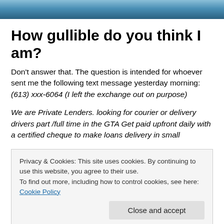[Figure (photo): Header image — dark blue/teal decorative photo strip at top of page]
How gullible do you think I am?
Don't answer that. The question is intended for whoever sent me the following text message yesterday morning: (613) xxx-6064 (I left the exchange out on purpose)
We are Private Lenders. looking for courier or delivery drivers part /full time in the GTA Get paid upfront daily with a certified cheque to make loans delivery in small
Privacy & Cookies: This site uses cookies. By continuing to use this website, you agree to their use. To find out more, including how to control cookies, see here: Cookie Policy
Close and accept
Okay, first you go to 613 in my tur...